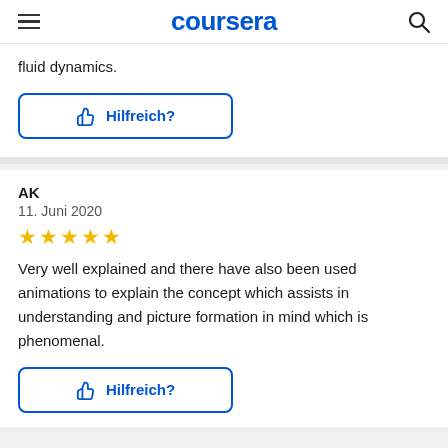coursera
fluid dynamics.
Hilfreich?
AK
11. Juni 2020
[Figure (other): Five gold star rating]
Very well explained and there have also been used animations to explain the concept which assists in understanding and picture formation in mind which is phenomenal.
Hilfreich?